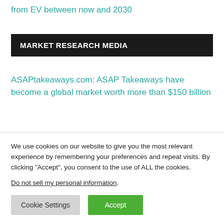from EV between now and 2030
MARKET RESEARCH MEDIA
ASAPtakeaways.com: ASAP Takeaways have become a global market worth more than $150 billion
Inflation Bites: The U.S. government can buy fewer
We use cookies on our website to give you the most relevant experience by remembering your preferences and repeat visits. By clicking “Accept”, you consent to the use of ALL the cookies.
Do not sell my personal information.